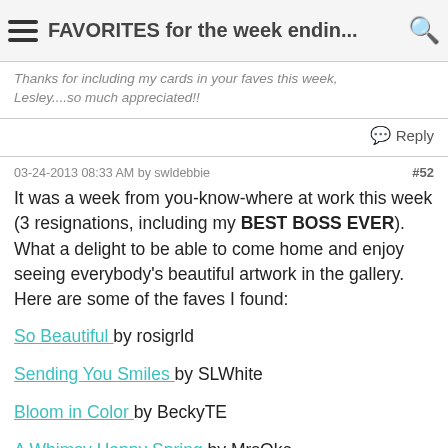FAVORITES for the week endin...
Thanks for including my cards in your faves this week, Lesley....so much appreciated!!
Reply
03-24-2013 08:33 AM by swldebbie #52
It was a week from you-know-where at work this week (3 resignations, including my BEST BOSS EVER). What a delight to be able to come home and enjoy seeing everybody's beautiful artwork in the gallery. Here are some of the faves I found:
So Beautiful by rosigrld
Sending You Smiles by SLWhite
Bloom in Color by BeckyTE
A Whimsy Happy Spring by MrsOke